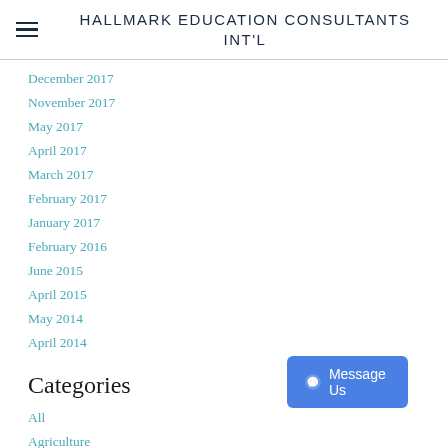HALLMARK EDUCATION CONSULTANTS INT'L
December 2017
November 2017
May 2017
April 2017
March 2017
February 2017
January 2017
February 2016
June 2015
April 2015
May 2014
April 2014
Categories
All
Agriculture